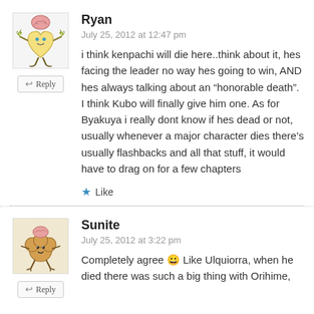[Figure (illustration): Cartoon avatar of a character with a brain on top and heart-shaped body with leaf/star arms]
Ryan
July 25, 2012 at 12:47 pm
i think kenpachi will die here..think about it, hes facing the leader no way hes going to win, AND hes always talking about an “honorable death”. I think Kubo will finally give him one. As for Byakuya i really dont know if hes dead or not, usually whenever a major character dies there’s usually flashbacks and all that stuff, it would have to drag on for a few chapters
★ Like
[Figure (illustration): Cartoon avatar of a character resembling a flower or cloud shape with small limbs]
Sunite
July 25, 2012 at 3:22 pm
Completely agree 😀 Like Ulquiorra, when he died there was such a big thing with Orihime,